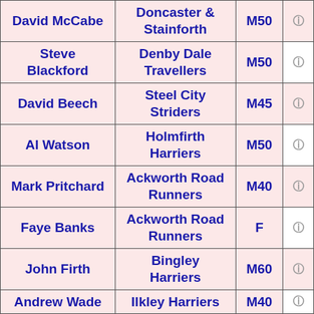| Name | Club | Category |  |
| --- | --- | --- | --- |
| David McCabe | Doncaster & Stainforth | M50 |  |
| Steve Blackford | Denby Dale Travellers | M50 |  |
| David Beech | Steel City Striders | M45 |  |
| Al Watson | Holmfirth Harriers | M50 |  |
| Mark Pritchard | Ackworth Road Runners | M40 |  |
| Faye Banks | Ackworth Road Runners | F |  |
| John Firth | Bingley Harriers | M60 |  |
| Andrew Wade | Ilkley Harriers | M40 |  |